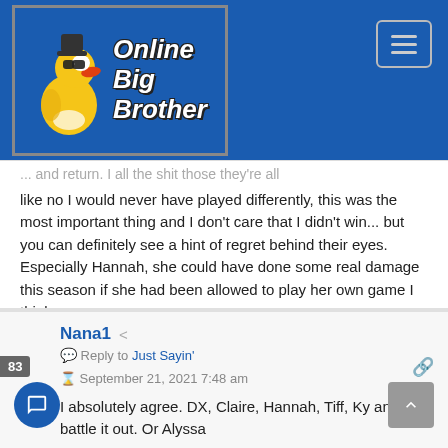[Figure (logo): Online Big Brother website logo with rubber duck wearing sunglasses and hat]
like no I would never have played differently, this was the most important thing and I don't care that I didn't win... but you can definitely see a hint of regret behind their eyes. Especially Hannah, she could have done some real damage this season if she had been allowed to play her own game I think
👍 23   ➤ Reply   ∧
Nana1
Reply to Just Sayin'
September 21, 2021 7:48 am
I absolutely agree. DX, Claire, Hannah, Tiff, Ky and X battle it out. Or Alyssa